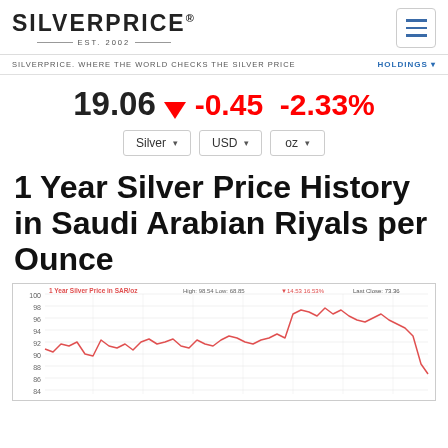SILVERPRICE® EST. 2002
SILVERPRICE. WHERE THE WORLD CHECKS THE SILVER PRICE   HOLDINGS
19.06 ▼ -0.45 -2.33%
1 Year Silver Price History in Saudi Arabian Riyals per Ounce
[Figure (continuous-plot): 1 Year Silver Price in SAR/oz line chart. High: 98.54 Low: 68.85 -14.53 16.53%. Last Close: 73.36. Y-axis from ~80 to 100. Red line chart showing silver price fluctuations over 1 year.]